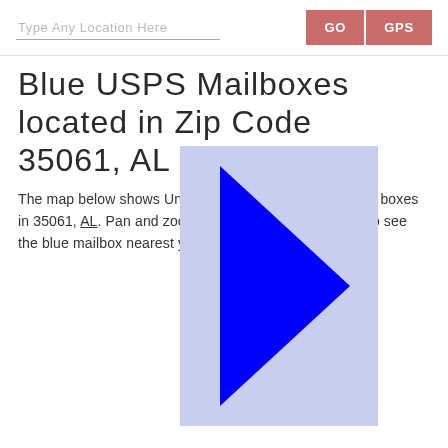Type Any Location Here  GO  GPS
Blue USPS Mailboxes located in Zip Code 35061, AL
The map below shows United States Postal Service post boxes in 35061, AL. Pan and zoom the interactive map below to see the blue mailbox nearest you.
[Figure (map): Partially visible interactive map showing blue USPS mailbox locations in zip code 35061, AL. The map appears as a blue/lavender rectangle with a solid blue triangle (play button arrow shape) overlaid, indicating a collapsed or loading map panel.]